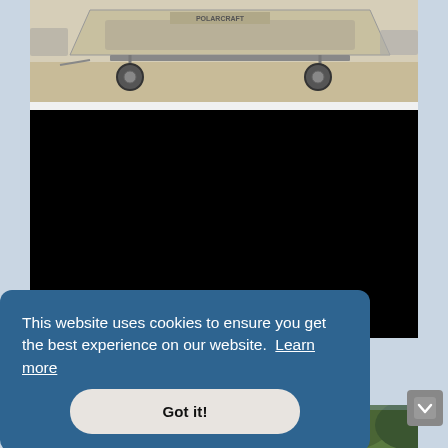[Figure (photo): Photograph of a tan/beige aluminum boat (Polar Kraft brand) on a trailer, parked on sandy ground. Other boats/trailers visible in background.]
[Figure (screenshot): Large black rectangle — a video player area with no visible content (unloaded or black screen).]
This website uses cookies to ensure you get the best experience on our website. Learn more
Got it!
[Figure (photo): Partial view of trees and green foliage at the bottom of the page.]